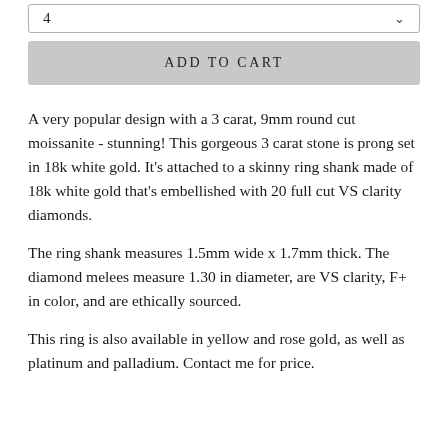4
ADD TO CART
A very popular design with a 3 carat, 9mm round cut moissanite - stunning! This gorgeous 3 carat stone is prong set in 18k white gold. It's attached to a skinny ring shank made of 18k white gold that's embellished with 20 full cut VS clarity diamonds.
The ring shank measures 1.5mm wide x 1.7mm thick. The diamond melees measure 1.30 in diameter, are VS clarity, F+ in color, and are ethically sourced.
This ring is also available in yellow and rose gold, as well as platinum and palladium.  Contact me for price.